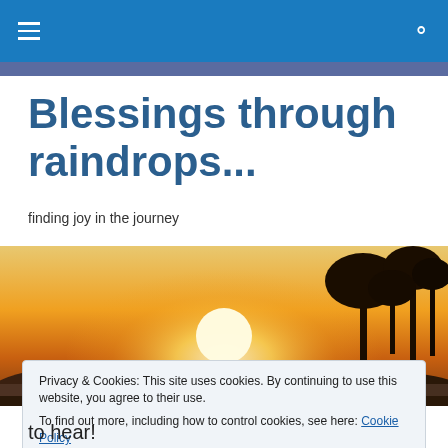navigation bar with hamburger menu and search icon
Blessings through raindrops...
finding joy in the journey
[Figure (photo): Sunset landscape with silhouetted palm trees and hills against a bright orange and yellow sky with large glowing sun near the horizon]
Privacy & Cookies: This site uses cookies. By continuing to use this website, you agree to their use.
To find out more, including how to control cookies, see here: Cookie Policy

Close and accept
to hear!